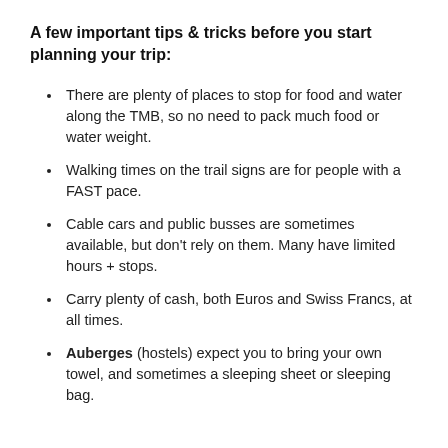A few important tips & tricks before you start planning your trip:
There are plenty of places to stop for food and water along the TMB, so no need to pack much food or water weight.
Walking times on the trail signs are for people with a FAST pace.
Cable cars and public busses are sometimes available, but don't rely on them. Many have limited hours + stops.
Carry plenty of cash, both Euros and Swiss Francs, at all times.
Auberges (hostels) expect you to bring your own towel, and sometimes a sleeping sheet or sleeping bag.